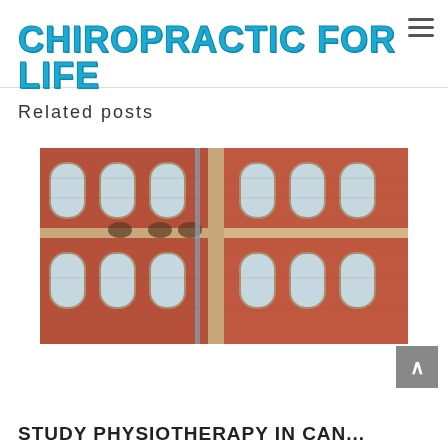CHIROPRACTIC FOR LIFE
Related posts
[Figure (photo): Photo of a red brick building exterior with arched windows and ornate stonework details, viewed from below at an angle]
STUDY PHYSIOTHERAPY IN CAN...